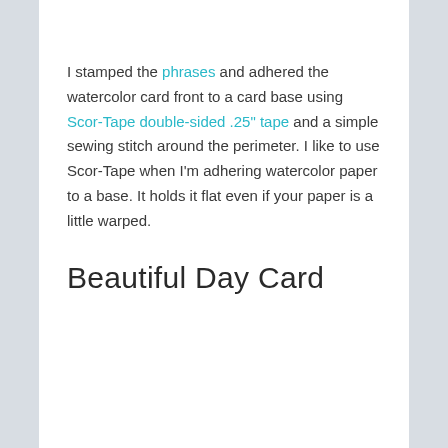I stamped the phrases and adhered the watercolor card front to a card base using Scor-Tape double-sided .25" tape and a simple sewing stitch around the perimeter. I like to use Scor-Tape when I'm adhering watercolor paper to a base. It holds it flat even if your paper is a little warped.
Beautiful Day Card